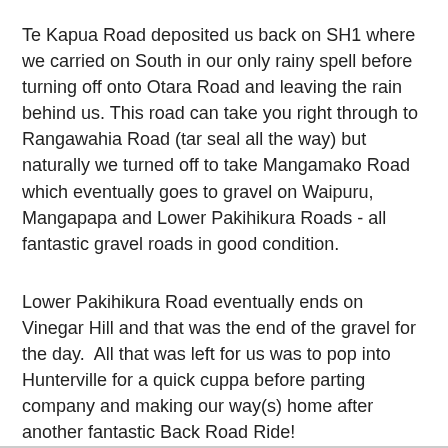Te Kapua Road deposited us back on SH1 where we carried on South in our only rainy spell before turning off onto Otara Road and leaving the rain behind us. This road can take you right through to Rangawahia Road (tar seal all the way) but naturally we turned off to take Mangamako Road which eventually goes to gravel on Waipuru, Mangapapa and Lower Pakihikura Roads - all fantastic gravel roads in good condition.
Lower Pakihikura Road eventually ends on Vinegar Hill and that was the end of the gravel for the day.  All that was left for us was to pop into Hunterville for a quick cuppa before parting company and making our way(s) home after another fantastic Back Road Ride!
To see the full map of the ride click on the link - you need to page through the map in sections as it was created from GPS data and seems to be a bit much for Google Maps to handle...